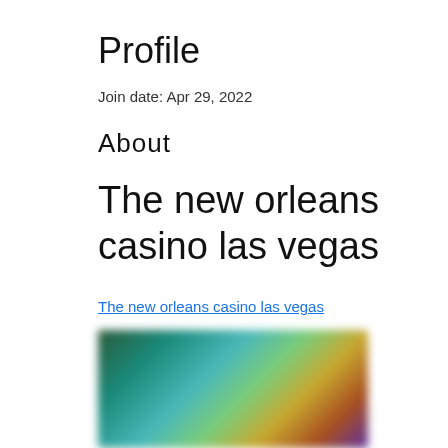Profile
Join date: Apr 29, 2022
About
The new orleans casino las vegas
The new orleans casino las vegas
[Figure (photo): Blurred image of a casino scene with colorful lighting and figures]